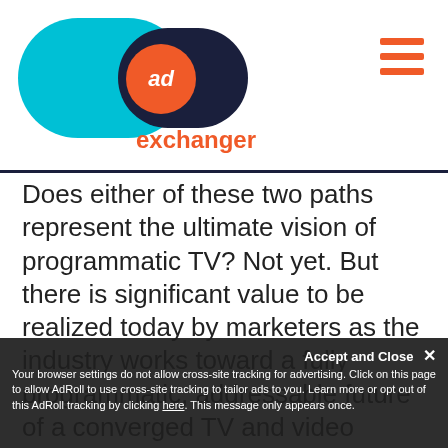AdExchanger logo and navigation
Does either of these two paths represent the ultimate vision of programmatic TV? Not yet. But there is significant value to be realized today by marketers as the industry works toward a fully programmatic, addressable future of a converged TV and video marketplace.
Every day, advertisers that venture into this new programmatic arena find added efficiency and superior results. Cross-screen and cross-channel campaign management and optimization yields significant ROI improvements for advertisers… the data and measurement that exists together is
Your browser settings do not allow cross-site tracking for advertising. Click on this page to allow AdRoll to use cross-site tracking to tailor ads to you. Learn more or opt out of this AdRoll tracking by clicking here. This message only appears once.